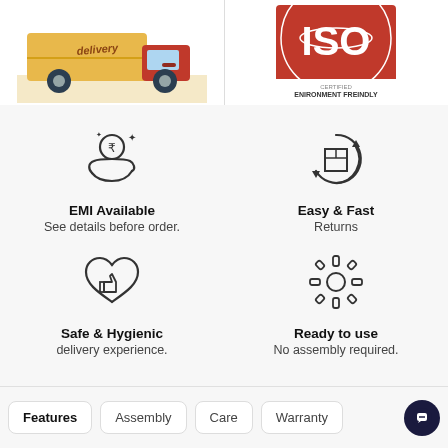[Figure (illustration): Yellow and red delivery truck cartoon illustration]
[Figure (logo): ISO certified Environment Friendly red logo badge]
[Figure (illustration): Hand receiving coin icon representing EMI]
EMI Available
See details before order.
[Figure (illustration): Package with circular arrows representing easy returns]
Easy & Fast
Returns
[Figure (illustration): Heart with thumbs up icon representing safe and hygienic]
Safe & Hygienic
delivery experience.
[Figure (illustration): Gear/cog icon representing ready to use]
Ready to use
No assembly required.
Features
Assembly
Care
Warranty